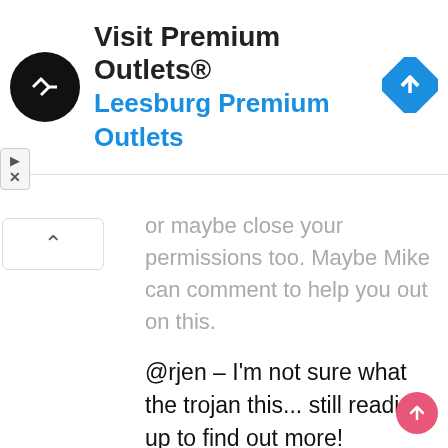[Figure (other): Advertisement banner: circular black logo with arrow icon, text 'Visit Premium Outlets®' in dark, 'Leesburg Premium Outlets' in blue, and a blue diamond road sign icon on the right]
or maybe close your permissions too. Maybe Mike can comment to help you out on this.
@rjen – I'm not sure what the trojan this... still reading up to find out more!
@Nemo – I think you were infected the same way I was. All my sites which I accessed via Filezilla were infected, as I had Filezilla remember the usernames and passwords, which now obviously is a dangerous thing to do. I think it is very probably that we were infected by another website that our anti-virus did not detect, and hence affected all our websites! About your computer –